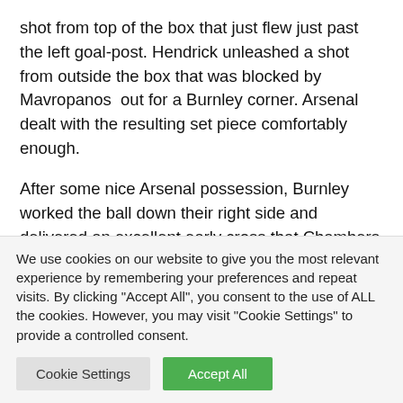shot from top of the box that just flew just past the left goalpost. Hendrick unleashed a shot from outside the box that was blocked by Mavropanos out for a Burnley corner. Arsenal dealt with the resulting set piece comfortably enough.
After some nice Arsenal possession, Burnley worked the ball down their right side and delivered an excellent early cross that Chambers did well to head out for a corner. That corner fell to Burnley on the edge of the area where Burnley worked
We use cookies on our website to give you the most relevant experience by remembering your preferences and repeat visits. By clicking "Accept All", you consent to the use of ALL the cookies. However, you may visit "Cookie Settings" to provide a controlled consent.